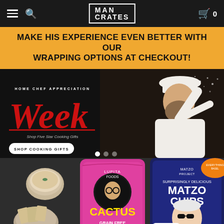MAN CRATES
MAKE HIS EXPERIENCE EVEN BETTER WITH OUR WRAPPING OPTIONS AT CHECKOUT!
[Figure (photo): Hero banner showing Home Chef Appreciation Week with a chef in white toque tossing flour, red script 'Week' text, and 'SHOP COOKING GIFTS' button]
[Figure (photo): Snack products on dark background including Lupita Foods Cactus Grain Free Tortilla Chips (pink bag), Matzo Project Surprisingly Delicious Matzo Chips (navy bag), and a bowl of hummus/dip with crackers]